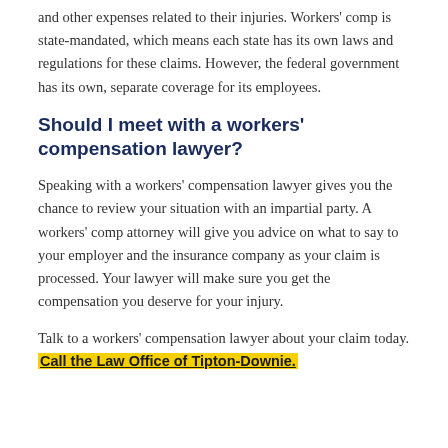provide financial help for employees' medical bills and other expenses related to their injuries. Workers' comp is state-mandated, which means each state has its own laws and regulations for these claims. However, the federal government has its own, separate coverage for its employees.
Should I meet with a workers' compensation lawyer?
Speaking with a workers' compensation lawyer gives you the chance to review your situation with an impartial party. A workers' comp attorney will give you advice on what to say to your employer and the insurance company as your claim is processed. Your lawyer will make sure you get the compensation you deserve for your injury.
Talk to a workers' compensation lawyer about your claim today. Call the Law Office of Tipton-Downie.